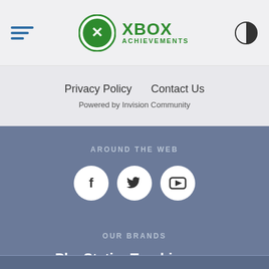Xbox Achievements
Privacy Policy   Contact Us
Powered by Invision Community
AROUND THE WEB
[Figure (logo): Three social media icon circles: Facebook (f), Twitter (bird), YouTube (play button)]
OUR BRANDS
PlayStationTrophies.org